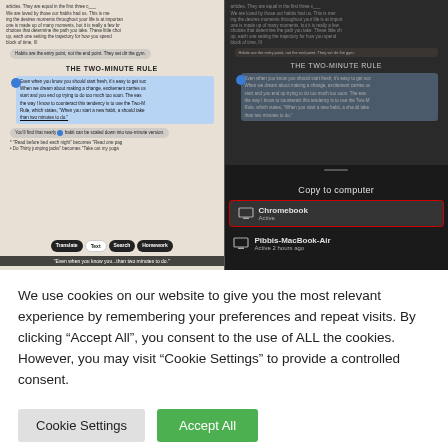[Figure (screenshot): Two smartphone screenshots side by side showing a book reading/annotation app. Left: text from 'The Two-Minute Rule' chapter with highlighted passage and toolbar buttons (Translate, Text, Search, Homework). Right: same content in dark mode with a 'Copy to computer' panel showing Chromebook (Active) and Pibbis-MacBook-Air device options.]
We use cookies on our website to give you the most relevant experience by remembering your preferences and repeat visits. By clicking “Accept All”, you consent to the use of ALL the cookies. However, you may visit "Cookie Settings" to provide a controlled consent.
Cookie Settings
Accept All